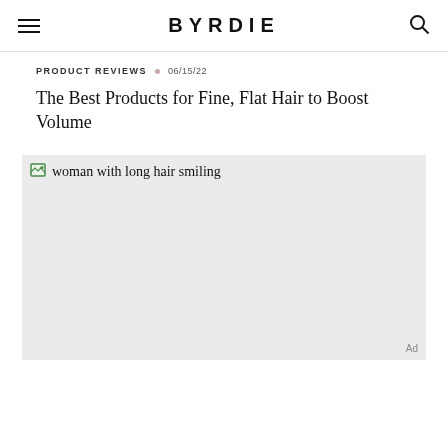BYRDIE
PRODUCT REVIEWS • 06/15/22
The Best Products for Fine, Flat Hair to Boost Volume
[Figure (photo): woman with long hair smiling — image placeholder with broken image icon and alt text]
Ad